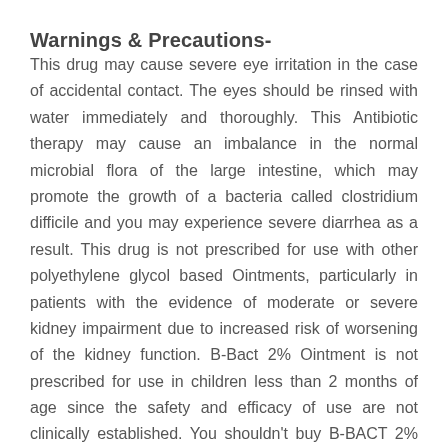Warnings & Precautions-
This drug may cause severe eye irritation in the case of accidental contact. The eyes should be rinsed with water immediately and thoroughly. This Antibiotic therapy may cause an imbalance in the normal microbial flora of the large intestine, which may promote the growth of a bacteria called clostridium difficile and you may experience severe diarrhea as a result. This drug is not prescribed for use with other polyethylene glycol based Ointments, particularly in patients with the evidence of moderate or severe kidney impairment due to increased risk of worsening of the kidney function. B-Bact 2% Ointment is not prescribed for use in children less than 2 months of age since the safety and efficacy of use are not clinically established. You shouldn't buy B-BACT 2% Ointment